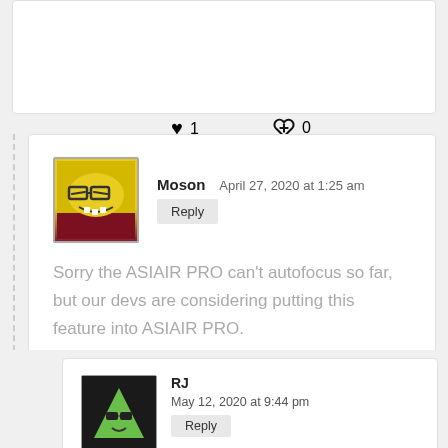♥ 1   ⌛ 0
Moson   April 27, 2020 at 1:25 am   Reply
Sorry the ASIAIR PRO can't autofocus so far, but our devs are considering putting this feature into ASIAIR PRO.
♥ 2   ⌛ 1
RJ
May 12, 2020 at 9:44 pm
Reply